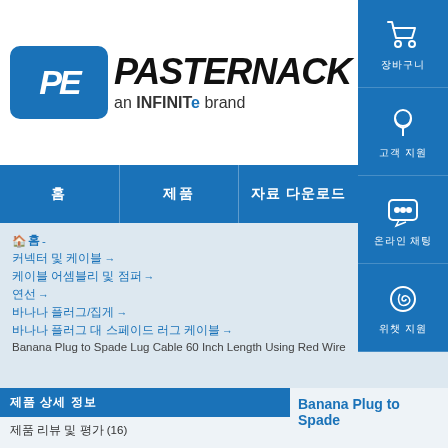[Figure (logo): Pasternack logo with PE initials in blue rounded box, text PASTERNACK in bold italic, an INFINITE brand below]
홈 제품
뉴스
자료 다운로드
홈 - 커넥터 및 케이블 → 케이블 어셈블리 및 점퍼 → 연선 → 바나나 플러그/집게 → 바나나 플러그 대 스페이드 러그 케이블 → Banana Plug to Spade Lug Cable 60 Inch Length Using Red Wire
제품 상세 정보
제품 리뷰 및 평가 (16)
Banana Plug to Spade